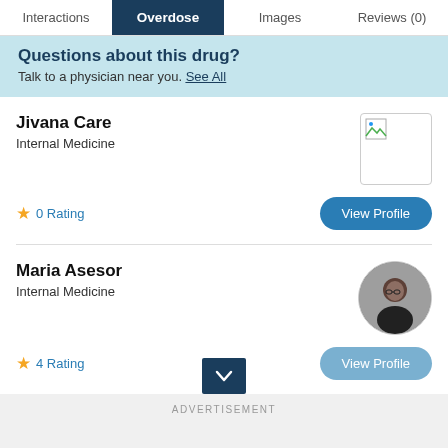Interactions | Overdose | Images | Reviews (0)
Questions about this drug?
Talk to a physician near you. See All
Jivana Care
Internal Medicine
0 Rating
Maria Asesor
Internal Medicine
4 Rating
ADVERTISEMENT